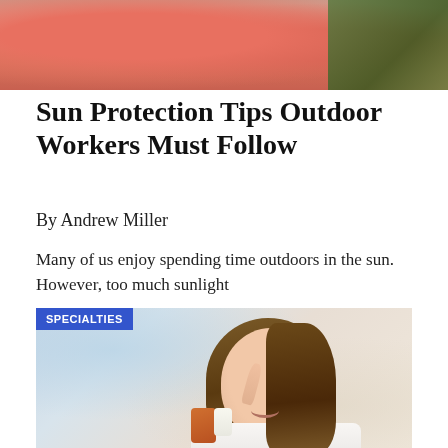[Figure (photo): Top cropped photo showing a sunburned torso/chest area with reddened skin, with green foliage visible in the top right corner]
Sun Protection Tips Outdoor Workers Must Follow
By Andrew Miller
Many of us enjoy spending time outdoors in the sun. However, too much sunlight
[Figure (photo): Photo of a smiling young woman with long brown hair applying skincare or sunscreen cream to her face with her finger, wearing a white top. A blue badge labeled SPECIALTIES appears in the top left corner of the image.]